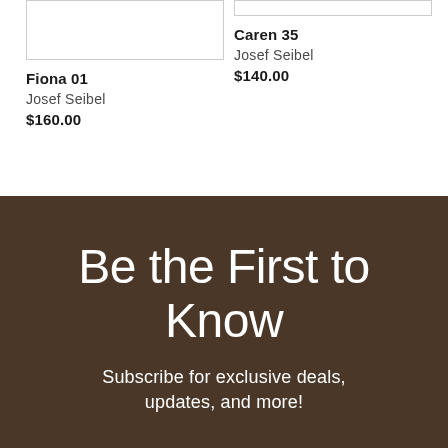Fiona 01
Josef Seibel
$160.00
Caren 35
Josef Seibel
$140.00
Be the First to Know
Subscribe for exclusive deals, updates, and more!